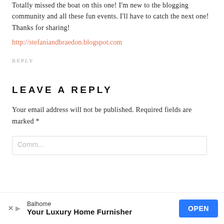Totally missed the boat on this one! I'm new to the blogging community and all these fun events. I'll have to catch the next one! Thanks for sharing!
http://stefaniandbraedon.blogspot.com
REPLY
LEAVE A REPLY
Your email address will not be published. Required fields are marked *
Comment
[Figure (other): Advertisement banner for Balhome - Your Luxury Home Furnisher with an OPEN button]